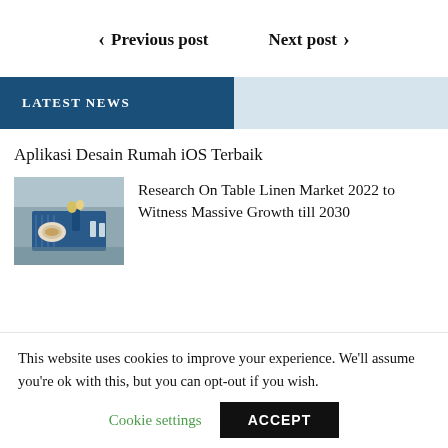< Previous post   Next post >
LATEST NEWS
Aplikasi Desain Rumah iOS Terbaik
[Figure (photo): Table setting with blue linen runner, plates, and floral arrangement]
Research On Table Linen Market 2022 to Witness Massive Growth till 2030
This website uses cookies to improve your experience. We'll assume you're ok with this, but you can opt-out if you wish.
Cookie settings   ACCEPT